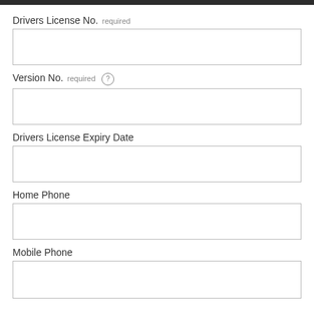Drivers License No. required
Version No. required
Drivers License Expiry Date
Home Phone
Mobile Phone